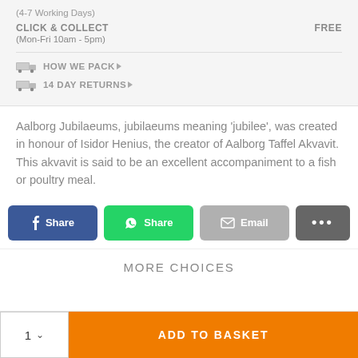(4-7 Working Days)
CLICK & COLLECT  FREE
(Mon-Fri 10am - 5pm)
HOW WE PACK
14 DAY RETURNS
Aalborg Jubilaeums, jubilaeums meaning 'jubilee', was created in honour of Isidor Henius, the creator of Aalborg Taffel Akvavit. This akvavit is said to be an excellent accompaniment to a fish or poultry meal.
[Figure (other): Social share buttons: Facebook Share (blue), WhatsApp Share (green), Email (grey), More options (dark grey)]
MORE CHOICES
1  ADD TO BASKET